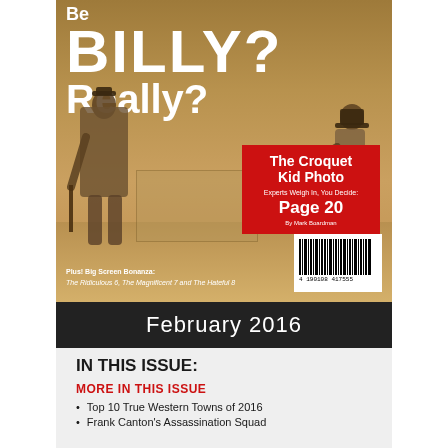[Figure (photo): Magazine cover showing a sepia-toned historical photo of two men, one with a rifle and one with a cane/croquet mallet, with large bold text reading 'Be Billy? Really?' and a red promo box for 'The Croquet Kid Photo, Experts Weigh In, You Decide, Page 20 by Mark Boardman'. Bottom of cover shows barcode and text about Big Screen Bonanza films.]
February 2016
IN THIS ISSUE:
MORE IN THIS ISSUE
Top 10 True Western Towns of 2016
Frank Canton's Assassination Squad